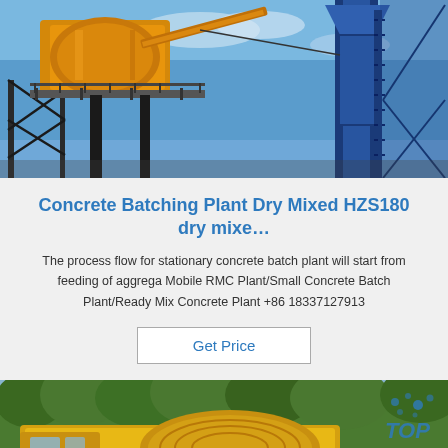[Figure (photo): Industrial concrete batching plant with yellow mixing equipment elevated on steel frame structure and blue tower/silo on right, against blue sky]
Concrete Batching Plant Dry Mixed HZS180 dry mixe…
The process flow for stationary concrete batch plant will start from feeding of aggrega Mobile RMC Plant/Small Concrete Batch Plant/Ready Mix Concrete Plant +86 18337127913
Get Price
[Figure (photo): Yellow mobile concrete batch plant/mixer truck with green trees in background, with blue 'TOP' logo watermark in upper right]